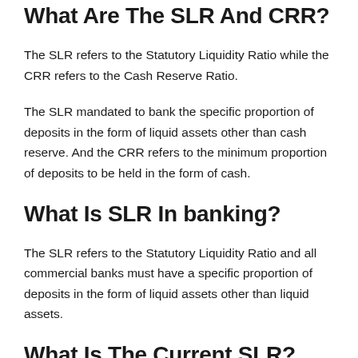What Are The SLR And CRR?
The SLR refers to the Statutory Liquidity Ratio while the CRR refers to the Cash Reserve Ratio.
The SLR mandated to bank the specific proportion of deposits in the form of liquid assets other than cash reserve. And the CRR refers to the minimum proportion of deposits to be held in the form of cash.
What Is SLR In banking?
The SLR refers to the Statutory Liquidity Ratio and all commercial banks must have a specific proportion of deposits in the form of liquid assets other than liquid assets.
What Is The Current SLR?